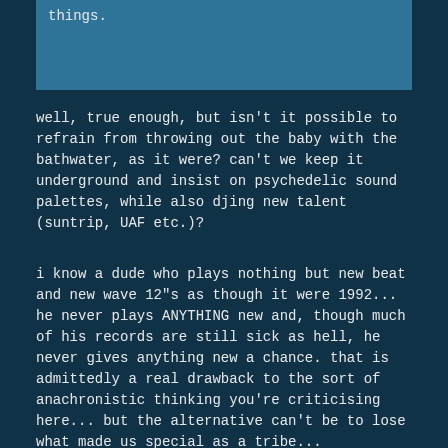things.
well, true enough, but isn't it possible to refrain from throwing out the baby with the bathwater, as it were? can't we keep it underground and insist on psychedelic sound palettes, while also djing new talent (suntrip, UAF etc.)?
i know a dude who plays nothing but new beat and new wave 12"s as though it were 1992... he never plays ANYTHING new and, though much of his records are still sick as hell, he never gives anything new a chance. that is admittedly a real drawback to the sort of anachronistic thinking you're criticising here... but the alternative can't be to lose what made us special as a tribe...
just some thoughts, mate
s